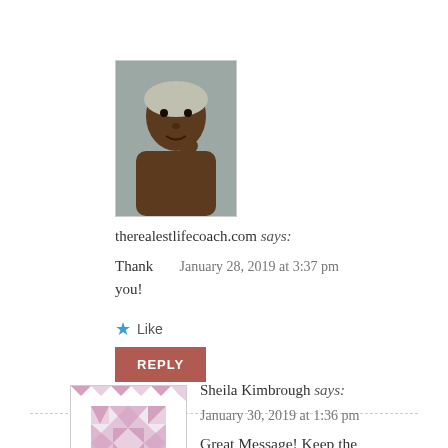[Figure (photo): Profile photo of therealestlifecoach.com commenter - a woman with short hair touching her chin]
therealestlifecoach.com says:
Thank you!
January 28, 2019 at 3:37 pm
Like
REPLY
[Figure (illustration): Quilt pattern avatar for Sheila Kimbrough - pink and white geometric quilt design]
Sheila Kimbrough says:
January 30, 2019 at 1:36 pm
Great Message! Keep the encouraging words...